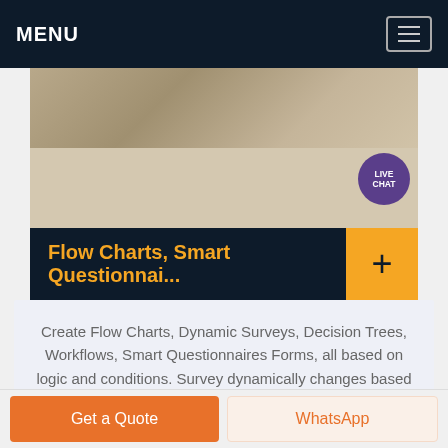MENU
[Figure (photo): Bathroom/sink plumbing image with LIVE CHAT bubble overlay in top right]
Flow Charts, Smart Questionnai...
Create Flow Charts, Dynamic Surveys, Decision Trees, Workflows, Smart Questionnaires Forms, all based on logic and conditions. Survey dynamically changes based on answers your users and respondents provide while taking your survey.
Get a Quote | WhatsApp